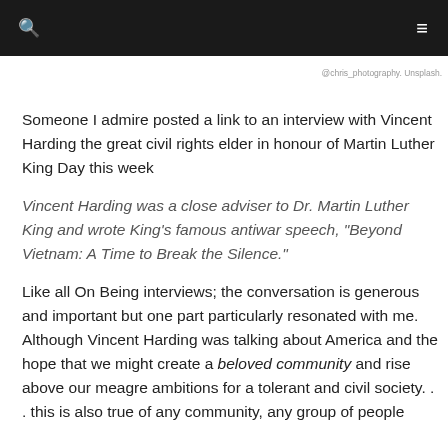🔍  ≡
@chris_photography. Unsplash.
Someone I admire posted a link to an interview with Vincent Harding the great civil rights elder in honour of Martin Luther King Day this week
Vincent Harding was a close adviser to Dr. Martin Luther King and wrote King's famous antiwar speech, "Beyond Vietnam: A Time to Break the Silence."
Like all On Being interviews; the conversation is generous and important but one part particularly resonated with me. Although Vincent Harding was talking about America and the hope that we might create a beloved community and rise above our meagre ambitions for a tolerant and civil society. . . this is also true of any community, any group of people